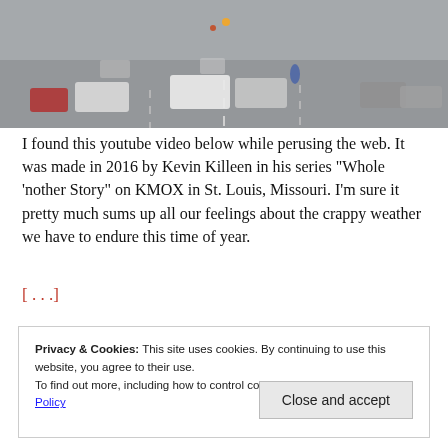[Figure (photo): A foggy street scene with cars and traffic, viewed from above. Several vehicles including white and red cars visible on a misty road with traffic lights.]
I found this youtube video below while perusing the web. It was made in 2016 by Kevin Killeen in his series “Whole ‘nother Story” on KMOX in St. Louis, Missouri. I’m sure it pretty much sums up all our feelings about the crappy weather we have to endure this time of year.
[. . .]
Privacy & Cookies: This site uses cookies. By continuing to use this website, you agree to their use. To find out more, including how to control cookies, see here: Cookie Policy